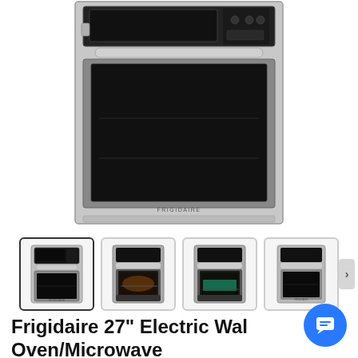[Figure (photo): Frigidaire 27-inch electric wall oven with microwave combo unit, stainless steel front, black glass oven door visible from top portion]
[Figure (photo): Thumbnail 1 (selected): Front view of Frigidaire wall oven/microwave combo, stainless steel]
[Figure (photo): Thumbnail 2: Interior view of oven with door open showing rack and heating elements]
[Figure (photo): Thumbnail 3: Interior view of oven with food/pan inside on rack]
[Figure (photo): Thumbnail 4: Angled front view of the wall oven/microwave combo]
Frigidaire 27" Electric Wall Oven/Microwave